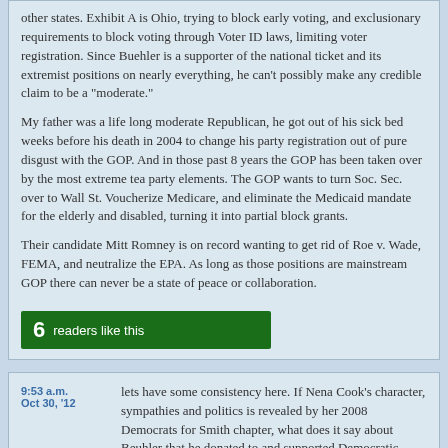other states. Exhibit A is Ohio, trying to block early voting, and exclusionary requirements to block voting through Voter ID laws, limiting voter registration. Since Buehler is a supporter of the national ticket and its extremist positions on nearly everything, he can't possibly make any credible claim to be a "moderate."
My father was a life long moderate Republican, he got out of his sick bed weeks before his death in 2004 to change his party registration out of pure disgust with the GOP. And in those past 8 years the GOP has been taken over by the most extreme tea party elements. The GOP wants to turn Soc. Sec. over to Wall St. Voucherize Medicare, and eliminate the Medicaid mandate for the elderly and disabled, turning it into partial block grants.
Their candidate Mitt Romney is on record wanting to get rid of Roe v. Wade, FEMA, and neutralize the EPA. As long as those positions are mainstream GOP there can never be a state of peace or collaboration.
[Figure (other): Green button showing '6 readers like this']
lets have some consistency here. If Nena Cook's character, sympathies and politics is revealed by her 2008 Democrats for Smith chapter, what does it say about Beuhler that he donated to and supported Democratic candidate Kitzhaber just two years ago?
Buehler is not a typical Republican candidate. He is in the tradition of Hatfield/McCall.
Seth Woolley and Bob Wolfe are being very strategic in picking this race, with these candidates, to highlight the issue that they feel is most important.
That is smart, rational, and speaks to their character and
9:53 a.m. Oct 30, '12